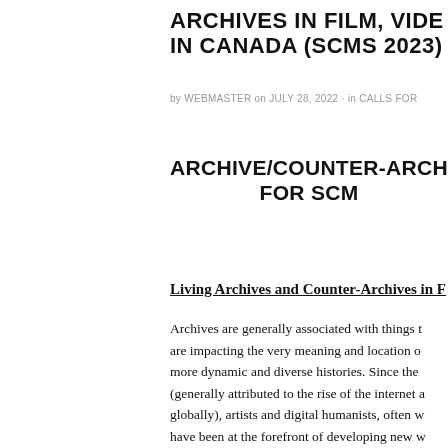ARCHIVES IN FILM, VIDEO IN CANADA (SCMS 2023)
by WEBMASTER on JULY 28, 2022 · in CALLS FOR
ARCHIVE/COUNTER-ARCH FOR SCMS
Living Archives and Counter-Archives in F
Archives are generally associated with things t are impacting the very meaning and location o more dynamic and diverse histories. Since the (generally attributed to the rise of the internet a globally), artists and digital humanists, often w have been at the forefront of developing new w public and private. Artists are using film and m forms of history, collection, and national narra and digital media are process-oriented, particip